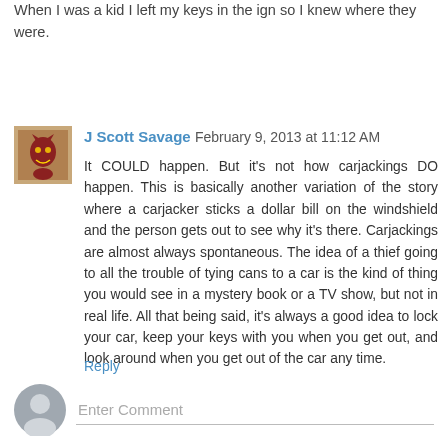When I was a kid I left my keys in the ign so I knew where they were.
Reply
J Scott Savage  February 9, 2013 at 11:12 AM
It COULD happen. But it's not how carjackings DO happen. This is basically another variation of the story where a carjacker sticks a dollar bill on the windshield and the person gets out to see why it's there. Carjackings are almost always spontaneous. The idea of a thief going to all the trouble of tying cans to a car is the kind of thing you would see in a mystery book or a TV show, but not in real life. All that being said, it's always a good idea to lock your car, keep your keys with you when you get out, and look around when you get out of the car any time.
Reply
Enter Comment